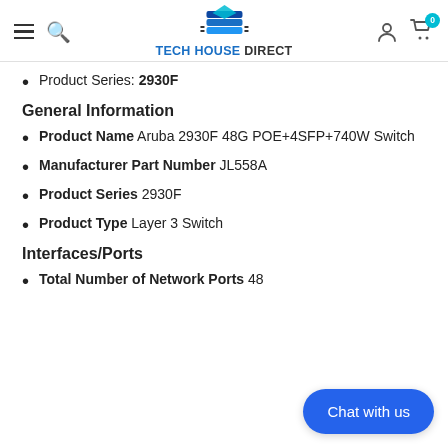Tech House Direct - navigation header
Product Series: 2930F
General Information
Product Name Aruba 2930F 48G POE+4SFP+740W Switch
Manufacturer Part Number JL558A
Product Series 2930F
Product Type Layer 3 Switch
Interfaces/Ports
Total Number of Network Ports 48